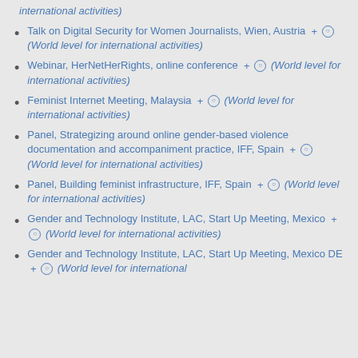international activities) [partial, italic]
Talk on Digital Security for Women Journalists, Wien, Austria + (World level for international activities)
Webinar, HerNetHerRights, online conference + (World level for international activities)
Feminist Internet Meeting, Malaysia + (World level for international activities)
Panel, Strategizing around online gender-based violence documentation and accompaniment practice, IFF, Spain + (World level for international activities)
Panel, Building feminist infrastructure, IFF, Spain + (World level for international activities)
Gender and Technology Institute, LAC, Start Up Meeting, Mexico + (World level for international activities)
Gender and Technology Institute, LAC, Start Up Meeting, Mexico DE + (World level for international activities) [partial]